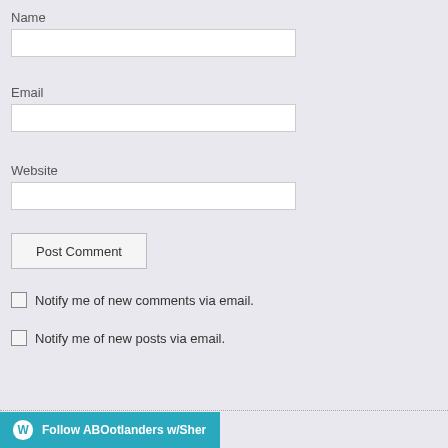Name
Email
Website
Post Comment
Notify me of new comments via email.
Notify me of new posts via email.
Follow ABOotlanders w/Sher